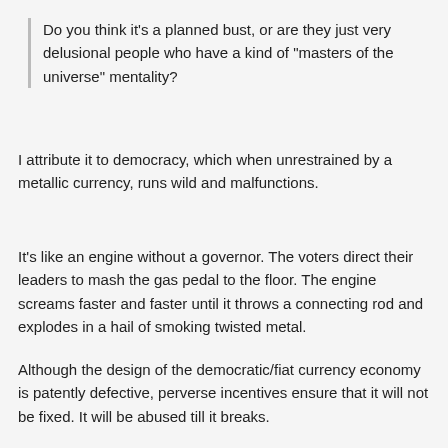Do you think it's a planned bust, or are they just very delusional people who have a kind of "masters of the universe" mentality?
I attribute it to democracy, which when unrestrained by a metallic currency, runs wild and malfunctions.
It's like an engine without a governor. The voters direct their leaders to mash the gas pedal to the floor. The engine screams faster and faster until it throws a connecting rod and explodes in a hail of smoking twisted metal.
Although the design of the democratic/fiat currency economy is patently defective, perverse incentives ensure that it will not be fixed. It will be abused till it breaks.